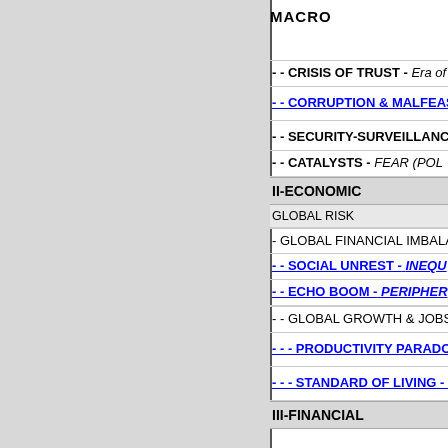MACRO
- - CRISIS OF TRUST - Era of
- - CORRUPTION & MALFEAS...
- - SECURITY-SURVEILLANCE
- - CATALYSTS - FEAR (POLI...
II-ECONOMIC
GLOBAL RISK
- GLOBAL FINANCIAL IMBALА...
- - SOCIAL UNREST - INEQU...
- - ECHO BOOM - PERIPHER...
- -  GLOBAL GROWTH & JOBS
- - - PRODUCTIVITY PARADO...
- - - STANDARD OF LIVING - E...
III-FINANCIAL